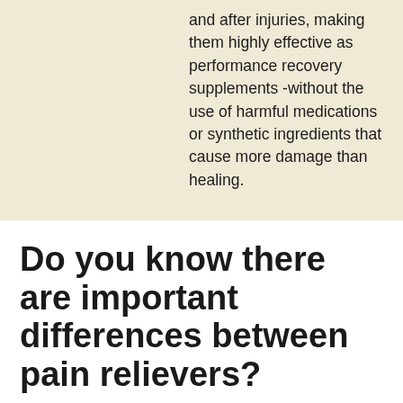and after injuries, making them highly effective as performance recovery supplements -without the use of harmful medications or synthetic ingredients that cause more damage than healing.
Do you know there are important differences between pain relievers?
For people with special health conditions, such as high blood pressure, certain non-prescription pain medications may be more suitable for use than others. Find out which pain reliever may be apropriate for you: